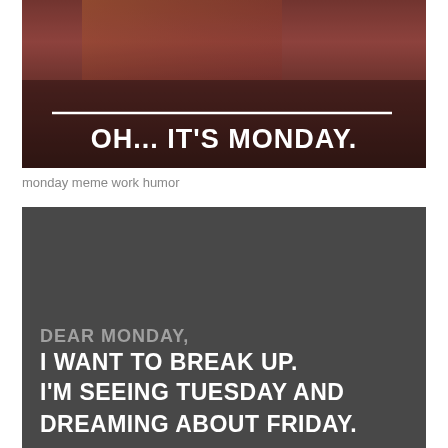[Figure (photo): Meme image with dark reddish-brown background showing a person, with a white horizontal line and bold white text reading 'OH... IT'S MONDAY.']
monday meme work humor
[Figure (photo): Dark gray background meme image with text: 'DEAR MONDAY, I WANT TO BREAK UP. I'M SEEING TUESDAY AND DREAMING ABOUT FRIDAY.' (bottom text cut off)]